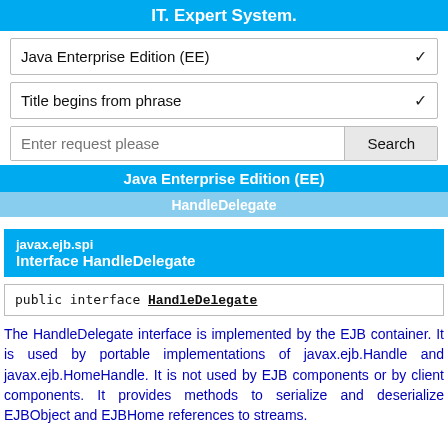IT. Expert System.
Java Enterprise Edition (EE)
Title begins from phrase
Enter request please  Search
Java Enterprise Edition (EE)
HandleDelegate
javax.ejb.spi
Interface HandleDelegate
public interface HandleDelegate
The HandleDelegate interface is implemented by the EJB container. It is used by portable implementations of javax.ejb.Handle and javax.ejb.HomeHandle. It is not used by EJB components or by client components. It provides methods to serialize and deserialize EJBObject and EJBHome references to streams.